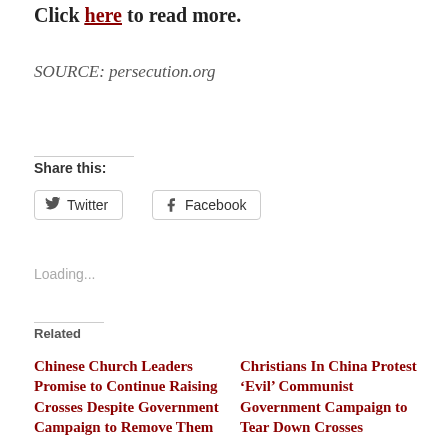Click here to read more.
SOURCE: persecution.org
Share this:
Twitter
Facebook
Loading...
Related
Chinese Church Leaders Promise to Continue Raising Crosses Despite Government Campaign to Remove Them
July 30, 2015
Christians In China Protest ‘Evil’ Communist Government Campaign to Tear Down Crosses
August 6, 2015